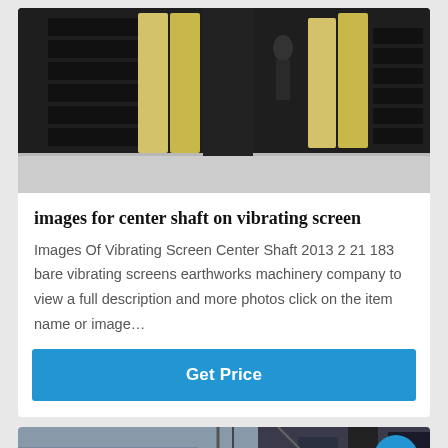[Figure (photo): Industrial vibrating screen equipment with yellow/cream colored rubber or polyurethane screen panels stacked, dark metal frames, person visible in background]
images for center shaft on vibrating screen
Images Of Vibrating Screen Center Shaft 2013 2 21 183 bare vibrating screens earthworks machinery company to view a full description and more photos click on the item name or image…
[Figure (other): Blue Get Price button]
[Figure (photo): Industrial building or factory exterior with steel structures and scaffolding, partially visible]
[Figure (other): Bottom navigation bar with Leave Message, avatar/chat icon, and Chat Online options on dark rounded background]